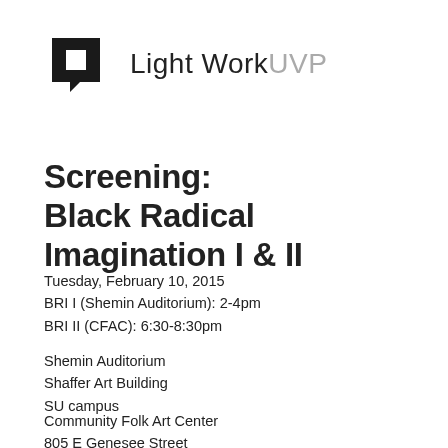[Figure (logo): Light Work UVP logo: black camera/square icon on the left, text 'LightWork' in dark gray and 'UVP' in light gray on the right]
Screening:
Black Radical Imagination I & II
Tuesday, February 10, 2015
BRI I (Shemin Auditorium): 2-4pm
BRI II (CFAC): 6:30-8:30pm
Shemin Auditorium
Shaffer Art Building
SU campus
Community Folk Art Center
805 E Genesee Street